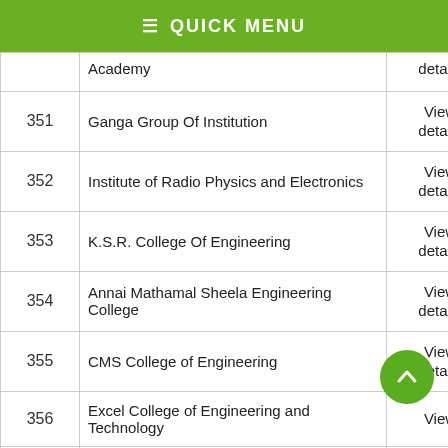☰ QUICK MENU
| # | Institution | Action |
| --- | --- | --- |
|  | Academy | details |
| 351 | Ganga Group Of Institution | View details |
| 352 | Institute of Radio Physics and Electronics | View details |
| 353 | K.S.R. College Of Engineering | View details |
| 354 | Annai Mathamal Sheela Engineering College | View details |
| 355 | CMS College of Engineering | View details |
| 356 | Excel College of Engineering and Technology | View details |
| 357 | Gnanamani College of Engineering | View details |